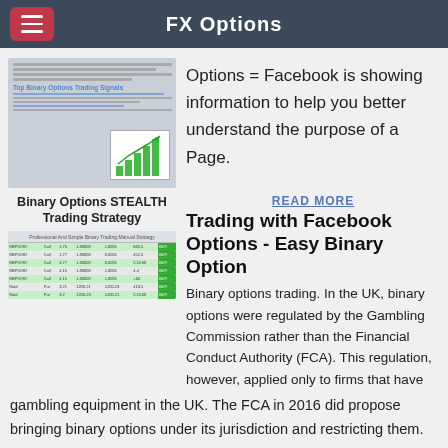FX Options
[Figure (screenshot): Screenshot of a binary options trading website showing text content and a green bar chart thumbnail image]
Options = Facebook is showing information to help you better understand the purpose of a Page.
[Figure (screenshot): Screenshot of Binary Options STEALTH Trading Strategy page showing a table with trading data and colored rows]
READ MORE
Trading with Facebook Options - Easy Binary Option
Binary options trading. In the UK, binary options were regulated by the Gambling Commission rather than the Financial Conduct Authority (FCA). This regulation, however, applied only to firms that have gambling equipment in the UK. The FCA in 2016 did propose bringing binary options under its jurisdiction and restricting them.